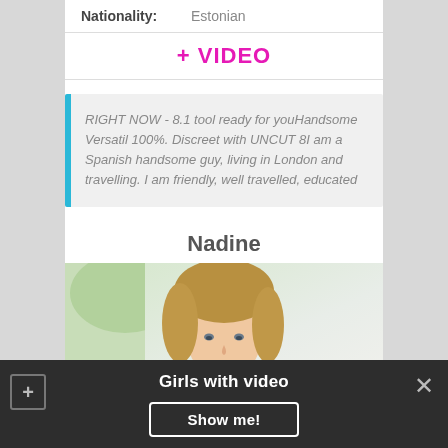Nationality: Estonian
+ VIDEO
RIGHT NOW - 8.1 tool ready for youHandsome Versatil 100%. Discreet with UNCUT 8I am a Spanish handsome guy, living in London and travelling. I am friendly, well travelled, educated
Nadine
[Figure (photo): Portrait photo of a young woman with long blonde hair against a green/light background, cropped to show face and top of head]
Girls with video
Show me!